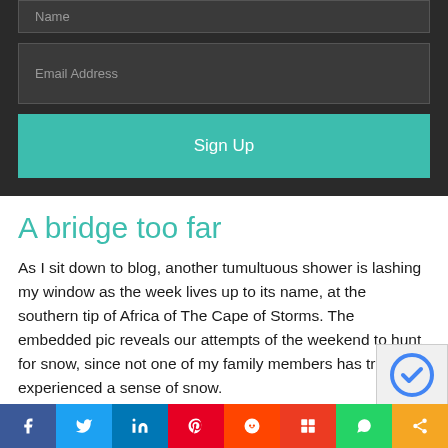Name
Email Address
Sign Up
A bridge too far
As I sit down to blog, another tumultuous shower is lashing my window as the week lives up to its name, at the southern tip of Africa of The Cape of Storms. The embedded pic reveals our attempts of the weekend to hunt for snow, since not one of my family members has truly experienced a sense of snow.